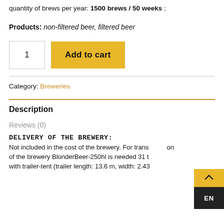quantity of brews per year: 1500 brews / 50 weeks ;
Products: non-filtered beer, filtered beer
1
Add to cart
Category: Breweries
Description
Reviews (0)
DELIVERY OF THE BREWERY:
Not included in the cost of the brewery. For transportation of the brewery BlonderBeer-250hl is needed 31 t with trailer-tent (trailer length: 13.6 m, width: 2.43